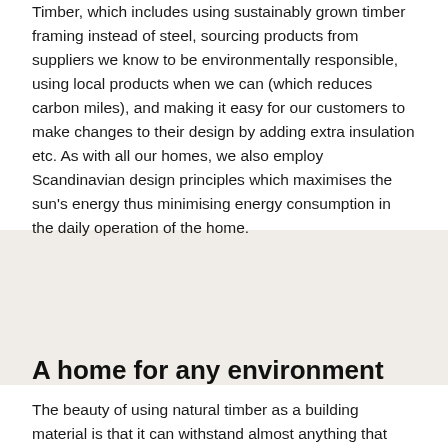Timber, which includes using sustainably grown timber framing instead of steel, sourcing products from suppliers we know to be environmentally responsible, using local products when we can (which reduces carbon miles), and making it easy for our customers to make changes to their design by adding extra insulation etc. As with all our homes, we also employ Scandinavian design principles which maximises the sun's energy thus minimising energy consumption in the daily operation of the home.
A home for any environment
The beauty of using natural timber as a building material is that it can withstand almost anything that Mother Nature can throw at it. Timber's ability to breathe and help